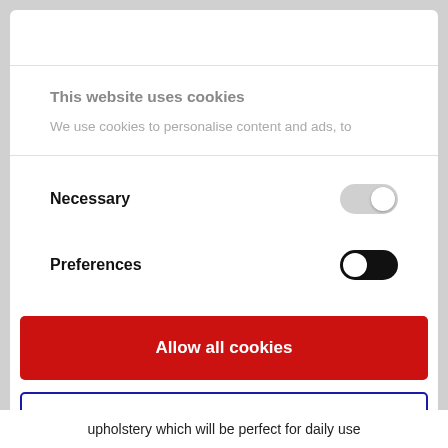This website uses cookies
We use cookies to personalise content and ads, to
Necessary
Preferences
Allow all cookies
Use necessary cookies only
Powered by Cookiebot by Usercentrics
upholstery which will be perfect for daily use